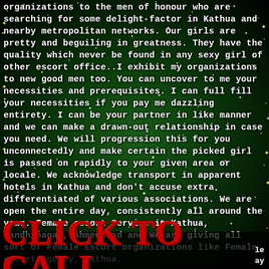organizations to the men of honour who are searching for some delight factor in Kathua and nearby metropolitan networks. Our girls are pretty and beguiling in greatness. They have the quality which never be found in any sexy girl of other escort office..I exhibit my organizations to new good men too. You can uncover to me your necessities and prerequisites. I can full fill your necessities if you pay me dazzling entirety. I can be your partner in like manner and we can make a drawn-out relationship in case you need. We will progression this for you unconnectedly and make certain the picked girl is passed on rapidly to your given area or locale. We acknowledge transport in apparent hotels in Kathua and don't accuse extra differentiated of various associations. We are open the entire day, consistently all around the year. Female escort Service in Kathua, Gandhinagar, Ahmedabad and We are giving all sort of Female Escort organizations like Female escort Agency, Kathua.
CLICK TO CALL